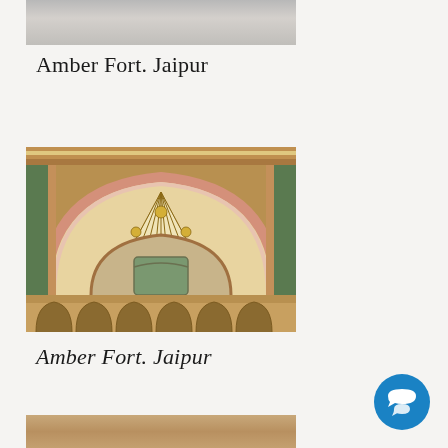[Figure (photo): Top portion of a photograph of Amber Fort, Jaipur — pale grey stone surface visible]
Amber Fort. Jaipur
[Figure (photo): Ornate decorated arch ceiling at Amber Fort, Jaipur — colorful Mughal-style frescoes with floral patterns in green, red, pink and gold on arched interior ceiling]
Amber Fort. Jaipur
[Figure (photo): Bottom portion of a photograph at Amber Fort, Jaipur — sandy ochre stone surface]